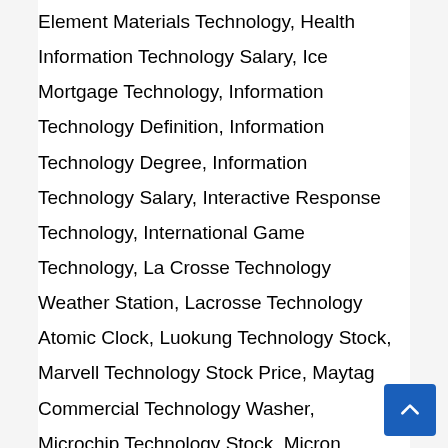Element Materials Technology, Health Information Technology Salary, Ice Mortgage Technology, Information Technology Definition, Information Technology Degree, Information Technology Salary, Interactive Response Technology, International Game Technology, La Crosse Technology Weather Station, Lacrosse Technology Atomic Clock, Luokung Technology Stock, Marvell Technology Stock Price, Maytag Commercial Technology Washer, Microchip Technology Stock, Micron Technology Stock Price, Mrna Technology History, Mrna Vaccine Technology, Nyc College Of Technology, Penn College Of Technology, Recombinant Dna Technology, Rlx Technology Stock, Robert Half Technology, Science And